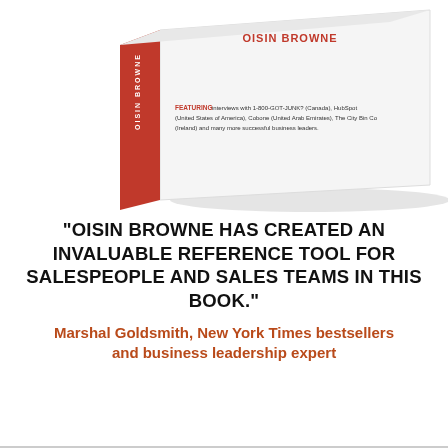[Figure (photo): A 3D rendered book box with a red spine and white cover. The cover shows the author name 'OISIN BROWNE' in red. Text on the cover reads 'FEATURING interviews with 1-800-GOT-JUNK? (Canada), HubSpot (United States of America), Cobone (United Arab Emirates), The City Bin Co (Ireland) and many more successful business leaders.' The box is shown at an angle against a white background.]
“OISIN BROWNE HAS CREATED AN INVALUABLE REFERENCE TOOL FOR SALESPEOPLE AND SALES TEAMS IN THIS BOOK.”
Marshal Goldsmith, New York Times bestsellers and business leadership expert